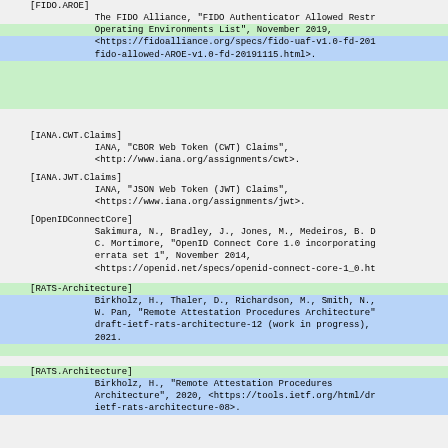[FIDO.AROE]
            The FIDO Alliance, "FIDO Authenticator Allowed Restricted Operating Environments List", November 2019, <https://fidoalliance.org/specs/fido-uaf-v1.0-fd-20191115/fido-allowed-AROE-v1.0-fd-20191115.html>.
[IANA.CWT.Claims]
            IANA, "CBOR Web Token (CWT) Claims",
            <http://www.iana.org/assignments/cwt>.
[IANA.JWT.Claims]
            IANA, "JSON Web Token (JWT) Claims",
            <https://www.iana.org/assignments/jwt>.
[OpenIDConnectCore]
            Sakimura, N., Bradley, J., Jones, M., Medeiros, B. D, C. Mortimore, "OpenID Connect Core 1.0 incorporating errata set 1", November 2014, <https://openid.net/specs/openid-connect-core-1_0.ht
[RATS-Architecture]
            Birkholz, H., Thaler, D., Richardson, M., Smith, N., W. Pan, "Remote Attestation Procedures Architecture", draft-ietf-rats-architecture-12 (work in progress), 2021.
[RATS.Architecture]
            Birkholz, H., "Remote Attestation Procedures Architecture", 2020, <https://tools.ietf.org/html/draft-ietf-rats-architecture-08>.